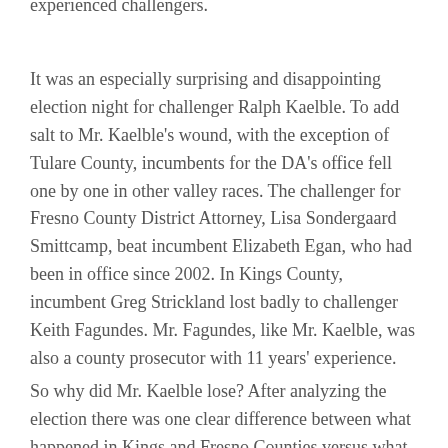experienced challengers.
It was an especially surprising and disappointing election night for challenger Ralph Kaelble. To add salt to Mr. Kaelble's wound, with the exception of Tulare County, incumbents for the DA's office fell one by one in other valley races. The challenger for Fresno County District Attorney, Lisa Sondergaard Smittcamp, beat incumbent Elizabeth Egan, who had been in office since 2002. In Kings County, incumbent Greg Strickland lost badly to challenger Keith Fagundes. Mr. Fagundes, like Mr. Kaelble, was also a county prosecutor with 11 years' experience.
So why did Mr. Kaelble lose? After analyzing the election there was one clear difference between what happened in Kings and Fresno Counties versus what happened in Tulare County. According to the Fresno Bee, there was discord in the DA's office, enough so that Ms.